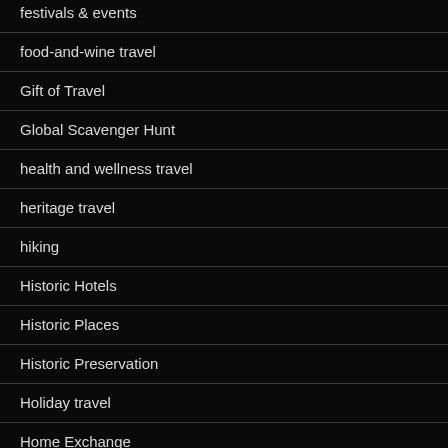festivals & events
food-and-wine travel
Gift of Travel
Global Scavenger Hunt
health and wellness travel
heritage travel
hiking
Historic Hotels
Historic Places
Historic Preservation
Holiday travel
Home Exchange
Homestays